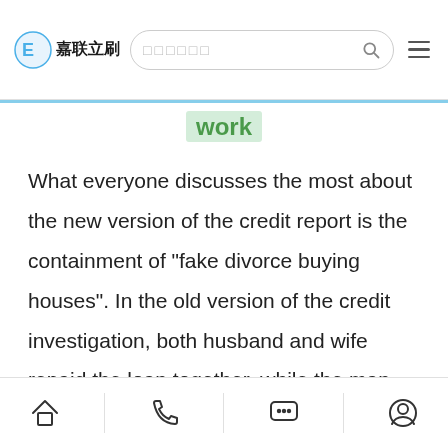嘉联立刷 [search bar] [menu]
work
What everyone discusses the most about the new version of the credit report is the containment of "fake divorce buying houses". In the old version of the credit investigation, both husband and wife repaid the loan together, while the man borrowed the loan, while the debt was not reflected in the woman's credit
[home] [phone] [chat] [user]